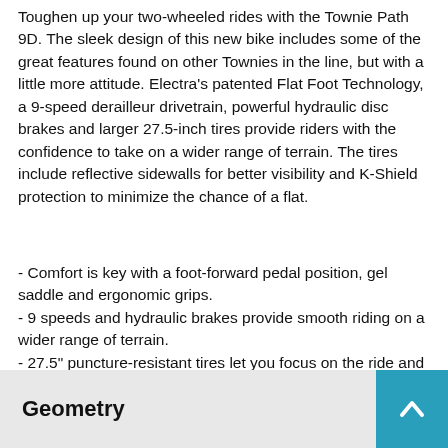Toughen up your two-wheeled rides with the Townie Path 9D. The sleek design of this new bike includes some of the great features found on other Townies in the line, but with a little more attitude. Electra's patented Flat Foot Technology, a 9-speed derailleur drivetrain, powerful hydraulic disc brakes and larger 27.5-inch tires provide riders with the confidence to take on a wider range of terrain. The tires include reflective sidewalls for better visibility and K-Shield protection to minimize the chance of a flat.
- Comfort is key with a foot-forward pedal position, gel saddle and ergonomic grips.
- 9 speeds and hydraulic brakes provide smooth riding on a wider range of terrain.
- 27.5" puncture-resistant tires let you focus on the ride and avoid the dreaded flat.
- For more versatility, add a Commuter Rear Rack Bag to pack all the necessities for an awesome adventure.
Geometry